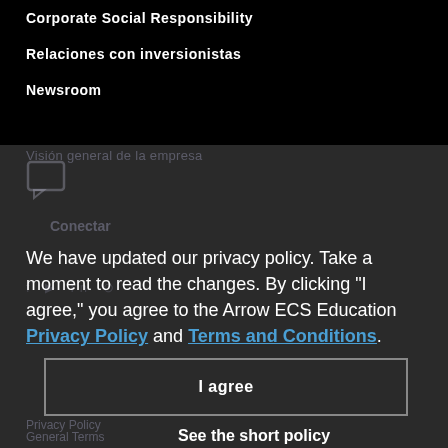Corporate Social Responsibility
Relaciones con inversionistas
Newsroom
We have updated our privacy policy. Take a moment to read the changes. By clicking "I agree," you agree to the Arrow ECS Education Privacy Policy and Terms and Conditions.
I agree
See the short policy